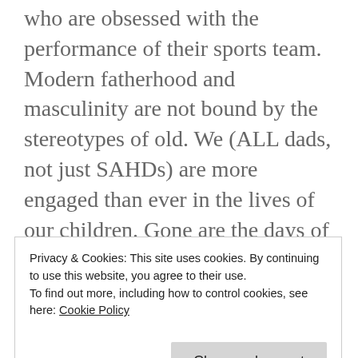who are obsessed with the performance of their sports team. Modern fatherhood and masculinity are not bound by the stereotypes of old. We (ALL dads, not just SAHDs) are more engaged than ever in the lives of our children. Gone are the days of the bumbling and inept dad. We are boldly going where few dads have gone before!
Another beef that I have with this commercial is how it portrays the mom and daughters. First, the
Privacy & Cookies: This site uses cookies. By continuing to use this website, you agree to their use.
To find out more, including how to control cookies, see here: Cookie Policy
Close and accept
enough with his own masculinity to play dress-up